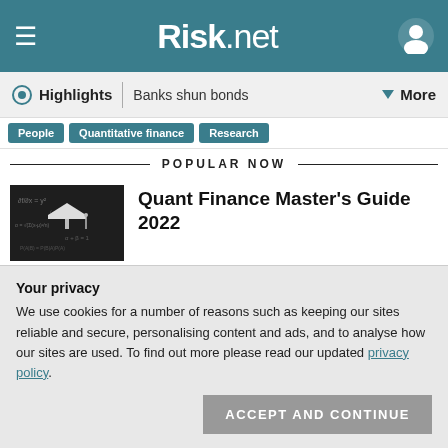Risk.net
Highlights | Banks shun bonds | More
People | Quantitative finance | Research
POPULAR NOW
[Figure (photo): Chalkboard with mathematical formulas and a graduation cap illustration]
Quant Finance Master's Guide 2022
[Figure (photo): Digital cybersecurity illustration with red tones showing a world map overlay]
Top 10 operational risks for 2022
Your privacy
We use cookies for a number of reasons such as keeping our sites reliable and secure, personalising content and ads, and to analyse how our sites are used. To find out more please read our updated privacy policy.
ACCEPT AND CONTINUE